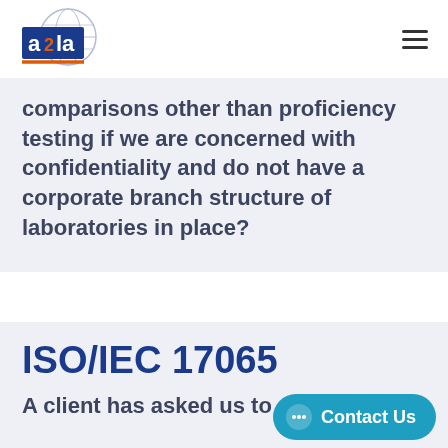[Figure (logo): A2LA logo with globe and orange underline]
comparisons other than proficiency testing if we are concerned with confidentiality and do not have a corporate branch structure of laboratories in place?
ISO/IEC 17065
A client has asked us to